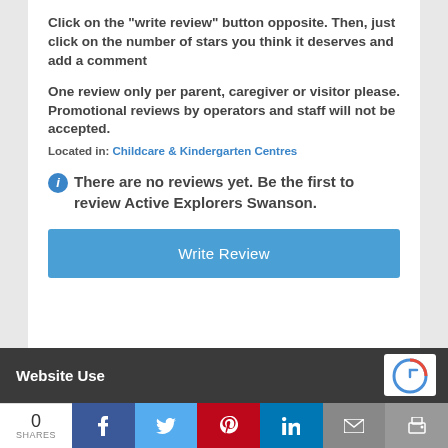Click on the "write review" button opposite. Then, just click on the number of stars you think it deserves and add a comment
One review only per parent, caregiver or visitor please. Promotional reviews by operators and staff will not be accepted.
Located in: Childcare & Kindergarten Centres
ℹ There are no reviews yet. Be the first to review Active Explorers Swanson.
Write Review
Website Use
0 SHARES | Facebook | Twitter | Pinterest | LinkedIn | Email | Print